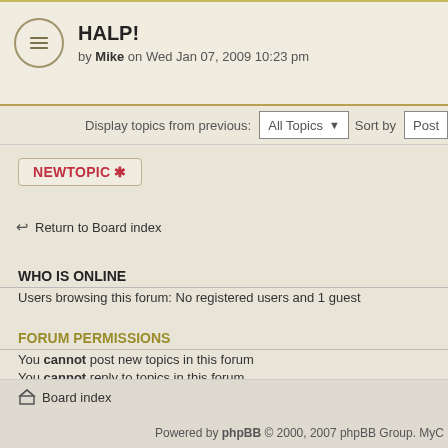HALP!
by Mike on Wed Jan 07, 2009 10:23 pm
Display topics from previous: All Topics  Sort by  Post
NEWTOPIC *
Return to Board index
WHO IS ONLINE
Users browsing this forum: No registered users and 1 guest
FORUM PERMISSIONS
You cannot post new topics in this forum
You cannot reply to topics in this forum
You cannot edit your posts in this forum
You cannot delete your posts in this forum
Board index
Powered by phpBB © 2000, 2007 phpBB Group. MyC